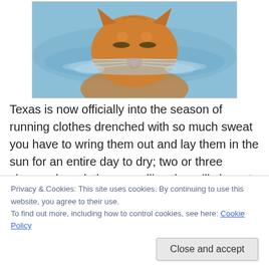[Figure (photo): An orange tabby cat swimming in blue water, seen from the front with its face just above the water surface, whiskers visible]
Texas is now officially into the season of running clothes drenched with so much sweat you have to wring them out and lay them in the sun for an entire day to dry; two or three shower days; lethargy; pulling the grill closer to the back door; watching the sunset through the window (if you
Privacy & Cookies: This site uses cookies. By continuing to use this website, you agree to their use.
To find out more, including how to control cookies, see here: Cookie Policy
By mid-July, I will have pulled the grill back out to where it